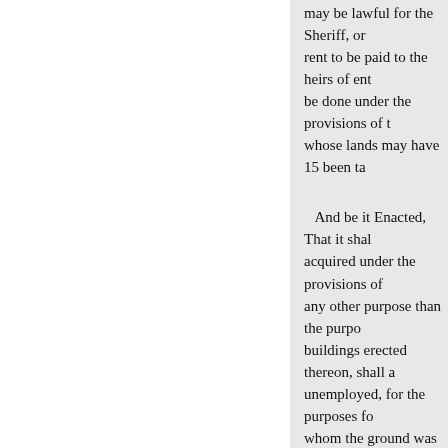may be lawful for the Sheriff, or rent to be paid to the heirs of ent be done under the provisions of t whose lands may have 15 been ta
And be it Enacted, That it shal acquired under the provisions of any other purpose than the purpo buildings erected thereon, shall a unemployed, for the purposes fo whom the ground was taken, or h was taken, to apply by petition to setting forth the diversion or aba forfeited; and the said Sheriff sha the truth of said allegation, and s case by making up a record in th right has been forfeited, or other the said right has been forfeited, without any infeftment, be held w and obtaining decree of forfeitu
« Previous